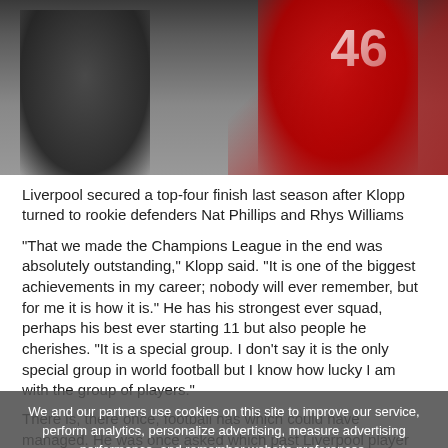[Figure (photo): Two football players, one in a red jersey with number 46, the other in dark clothing, photographed together at a football ground.]
Liverpool secured a top-four finish last season after Klopp turned to rookie defenders Nat Phillips and Rhys Williams
“That we made the Champions League in the end was absolutely outstanding,” Klopp said. “It is one of the biggest achievements in my career; nobody will ever remember, but for me it is how it is.” He has his strongest ever squad, perhaps his best ever starting 11 but also people he cherishes. “It is a special group. I don’t say it is the only special group in world football but I know how lucky I am with the group of players.”
There is, there once, football has which could have managed. He was once asked which past Liverpool player he would like to have coached. The response was swift: “Stevie.”
We and our partners use cookies on this site to improve our service, perform analytics, personalize advertising, measure advertising performance, and remember website preferences.
Ok